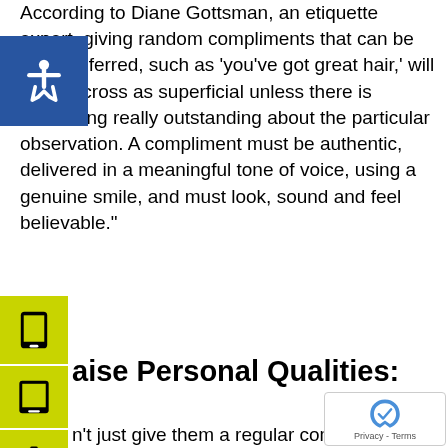According to Diane Gottsman, an etiquette expert, giving random compliments that can be easily inferred, such as 'you've got great hair,' will come across as superficial unless there is something really outstanding about the particular observation. A compliment must be authentic, delivered in a meaningful tone of voice, using a genuine smile, and must look, sound and feel believable."
Praise Personal Qualities:
Don't just give them a regular compliment — tailor it to the person themselves! People love to feel appreciated and will love it even more if you praise their personal qualities rather than the talents they worked on.
Be specific: